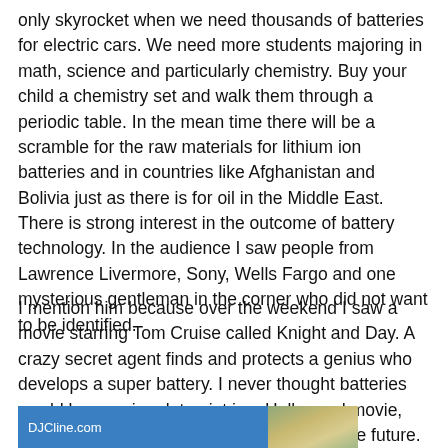only skyrocket when we need thousands of batteries for electric cars. We need more students majoring in math, science and particularly chemistry. Buy your child a chemistry set and walk them through a periodic table. In the mean time there will be a scramble for the raw materials for lithium ion batteries and in countries like Afghanistan and Bolivia just as there is for oil in the Middle East. There is strong interest in the outcome of battery technology. In the audience I saw people from Lawrence Livermore, Sony, Wells Fargo and one mysterious gentleman in the corner who did not want to be identified.
I mention him because over the weekend I saw a movie starring Tom Cruise called Knight and Day. A crazy secret agent finds and protects a genius who develops a super battery. I never thought batteries would be a major plot point in a Hollywood movie, but I think it will be key to our economy in the future.
[Figure (screenshot): Partial image strip at bottom showing DJCline.com logo on blue background with a partial outdoor photo to the right]